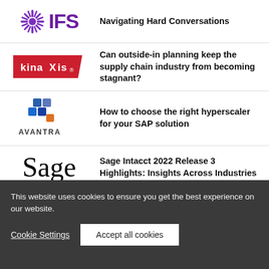[Figure (logo): IFS logo with sunburst icon in purple and IFS text in purple, next to text 'Navigating Hard Conversations']
Navigating Hard Conversations
[Figure (logo): Kinaxis logo on red banner with X in the middle of 'Axis', next to text about supply chain planning]
Can outside-in planning keep the supply chain industry from becoming stagnant?
[Figure (logo): Avantra logo with blue and orange blocks and AVANTRA text, next to text about hyperscaler for SAP]
How to choose the right hyperscaler for your SAP solution
[Figure (logo): Sage logo in large serif font, next to Sage Intacct release highlights text]
Sage Intacct 2022 Release 3 Highlights: Insights Across Industries
This website uses cookies to ensure you get the best experience on our website.
Cookie Settings
Accept all cookies